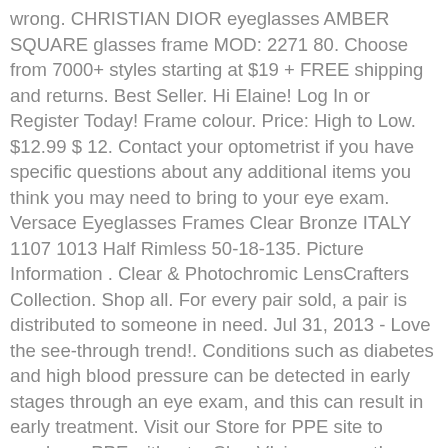wrong. CHRISTIAN DIOR eyeglasses AMBER SQUARE glasses frame MOD: 2271 80. Choose from 7000+ styles starting at $19 + FREE shipping and returns. Best Seller. Hi Elaine! Log In or Register Today! Frame colour. Price: High to Low. $12.99 $ 12. Contact your optometrist if you have specific questions about any additional items you think you may need to bring to your eye exam. Versace Eyeglasses Frames Clear Bronze ITALY 1107 1013 Half Rimless 50-18-135. Picture Information . Clear & Photochromic LensCrafters Collection. Shop all. For every pair sold, a pair is distributed to someone in need. Jul 31, 2013 - Love the see-through trend!. Conditions such as diabetes and high blood pressure can be detected in early stages through an eye exam, and this can result in early treatment. Visit our Store for PPE site to purchase PPE without a ClearVIsion account! DeBuff Blue Light Blocking Glasses Women Men Clear Lens Square Frame Computer Eyeglasses. Men Women. GIORGIO ARMANI Transparent Eyeglass Frames Silver ... RAY-BAN RB7066 5768 TRANSPARENT EYEGLASSES BRAND NEW. Daily, bi-weekly, and